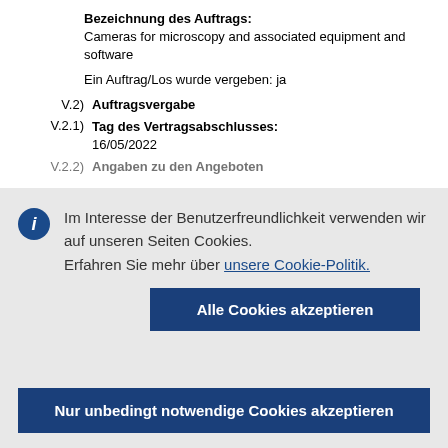Bezeichnung des Auftrags: Cameras for microscopy and associated equipment and software
Ein Auftrag/Los wurde vergeben: ja
V.2) Auftragsvergabe
V.2.1) Tag des Vertragsabschlusses: 16/05/2022
V.2.2) Angaben zu den Angeboten
Im Interesse der Benutzerfreundlichkeit verwenden wir auf unseren Seiten Cookies. Erfahren Sie mehr über unsere Cookie-Politik.
Alle Cookies akzeptieren
Nur unbedingt notwendige Cookies akzeptieren